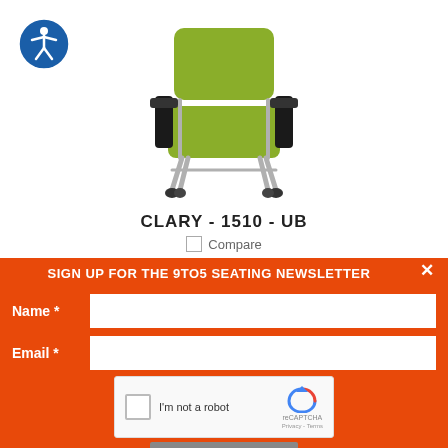[Figure (logo): Blue circular accessibility icon with white stick figure person]
[Figure (photo): Green upholstered office chair with black armrests, four-leg silver frame with casters]
CLARY - 1510 - UB
Compare
SIGN UP FOR THE 9TO5 SEATING NEWSLETTER
Name *
Email *
[Figure (screenshot): reCAPTCHA widget with checkbox and 'I'm not a robot' text, reCAPTCHA logo, Privacy and Terms links]
SUBSCRIBE